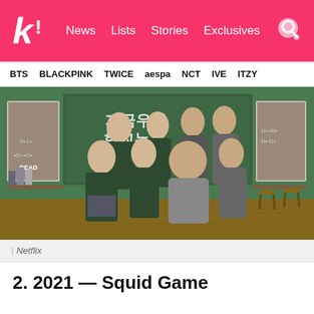k! News Lists Stories Exclusives
BTS BLACKPINK TWICE aespa NCT IVE ITZY
[Figure (photo): Cast photo for a Korean drama set in a school classroom with a chalkboard backdrop featuring Korean text, cast members wearing school uniforms and casual clothes]
| Netflix
2. 2021 — Squid Game